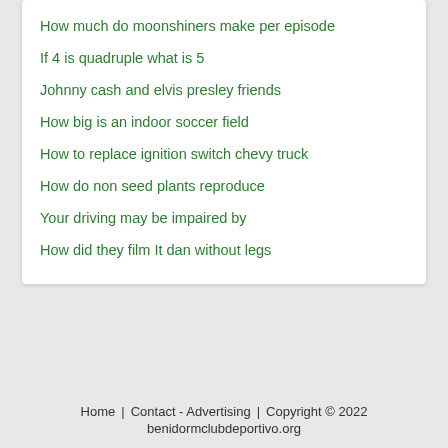How much do moonshiners make per episode
If 4 is quadruple what is 5
Johnny cash and elvis presley friends
How big is an indoor soccer field
How to replace ignition switch chevy truck
How do non seed plants reproduce
Your driving may be impaired by
How did they film It dan without legs
Home    Contact - Advertising    Copyright © 2022 benidormclubdeportivo.org